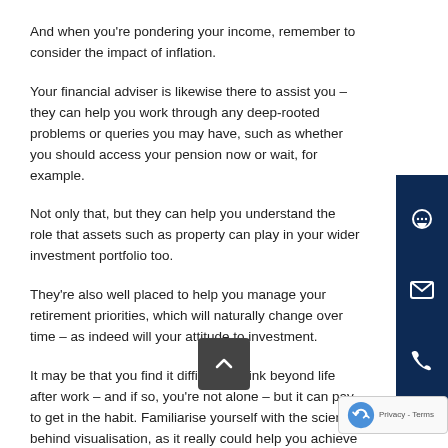And when you're pondering your income, remember to consider the impact of inflation.
Your financial adviser is likewise there to assist you – they can help you work through any deep-rooted problems or queries you may have, such as whether you should access your pension now or wait, for example.
Not only that, but they can help you understand the role that assets such as property can play in your wider investment portfolio too.
They're also well placed to help you manage your retirement priorities, which will naturally change over time – as indeed will your attitude to investment.
It may be that you find it difficult to think beyond life after work – and if so, you're not alone – but it can pay to get in the habit. Familiarise yourself with the science behind visualisation, as it really could help you achieve your long-term retirement goals.